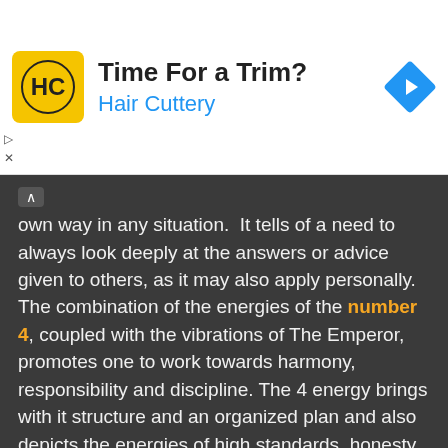[Figure (other): Advertisement banner for Hair Cuttery with logo, title 'Time For a Trim?', subtitle 'Hair Cuttery', and a blue navigation diamond icon]
own way in any situation. It tells of a need to always look deeply at the answers or advice given to others, as it may also apply personally.
The combination of the energies of the number 4, coupled with the vibrations of The Emperor, promotes one to work towards harmony, responsibility and discipline. The 4 energy brings with it structure and an organized plan and also depicts the energies of high standards, honesty and courage.
The symbol of the number 4 is the square. The